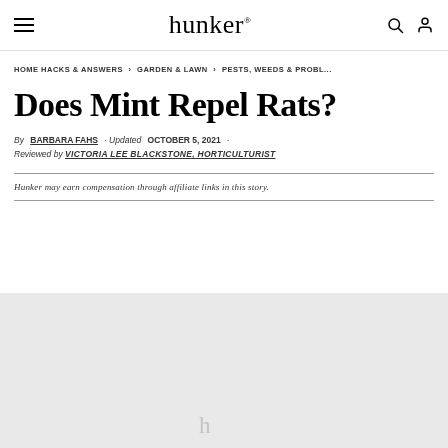hunker
HOME HACKS & ANSWERS > GARDEN & LAWN > PESTS, WEEDS & PROBL...
Does Mint Repel Rats?
By BARBARA FAHS · Updated OCTOBER 5, 2021 ·
Reviewed by VICTORIA LEE BLACKSTONE, HORTICULTURIST
Hunker may earn compensation through affiliate links in this story.
[Figure (photo): Light gray placeholder image with hunker logo watermark at bottom center]